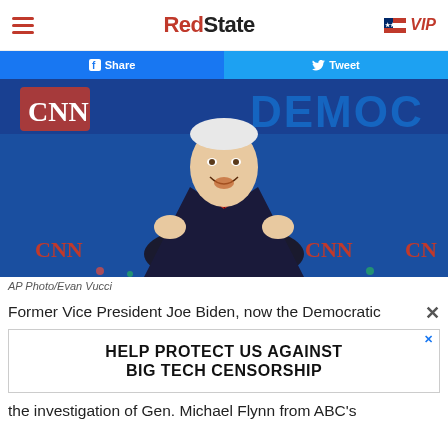RedState | VIP
[Figure (screenshot): Facebook Share and Twitter Tweet social share buttons]
[Figure (photo): Former Vice President Joe Biden speaking at a CNN Democratic debate, with CNN logos visible in the background. AP Photo/Evan Vucci]
AP Photo/Evan Vucci
Former Vice President Joe Biden, now the Democratic
[Figure (screenshot): Advertisement: HELP PROTECT US AGAINST BIG TECH CENSORSHIP]
the investigation of Gen. Michael Flynn from ABC's